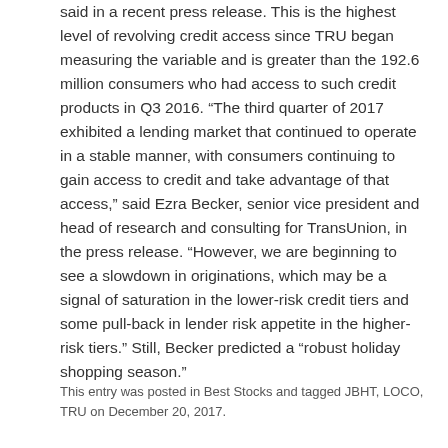said in a recent press release. This is the highest level of revolving credit access since TRU began measuring the variable and is greater than the 192.6 million consumers who had access to such credit products in Q3 2016. “The third quarter of 2017 exhibited a lending market that continued to operate in a stable manner, with consumers continuing to gain access to credit and take advantage of that access,” said Ezra Becker, senior vice president and head of research and consulting for TransUnion, in the press release. “However, we are beginning to see a slowdown in originations, which may be a signal of saturation in the lower-risk credit tiers and some pull-back in lender risk appetite in the higher-risk tiers.” Still, Becker predicted a “robust holiday shopping season.”
This entry was posted in Best Stocks and tagged JBHT, LOCO, TRU on December 20, 2017.